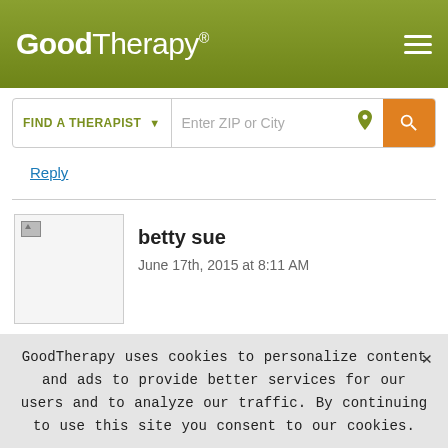GoodTherapy® — navigation header with logo and hamburger menu
[Figure (screenshot): Search bar with 'FIND A THERAPIST' dropdown, 'Enter ZIP or City' input, location pin icon, and orange search button]
Reply
betty sue
June 17th, 2015 at 8:11 AM
Isn't it funny how there are some things that overlap with the different teams and some things that are almost exactly the same?
Reply
GoodTherapy uses cookies to personalize content and ads to provide better services for our users and to analyze our traffic. By continuing to use this site you consent to our cookies.